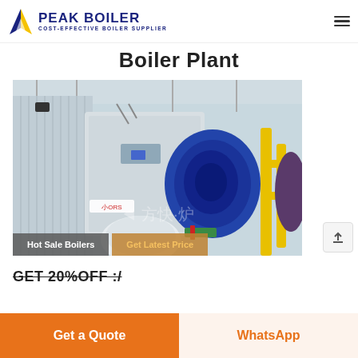[Figure (logo): Peak Boiler logo with yellow and blue triangular flame icon and text PEAK BOILER COST-EFFECTIVE BOILER SUPPLIER]
Boiler Plant
[Figure (photo): Industrial boiler plant interior showing large blue boiler equipment, corrugated metal walls, yellow pipes, overhead steel frame structure, and Chinese text watermark]
Hot Sale Boilers
Get Latest Price
GET 20%OFF :/
Get a Quote
WhatsApp